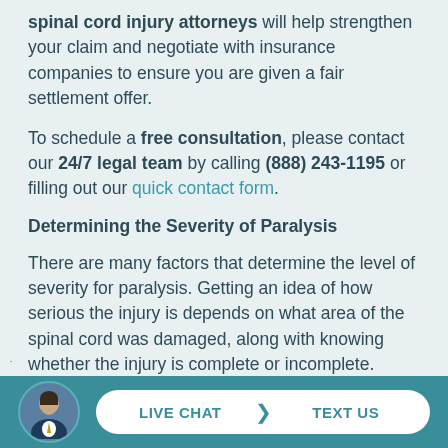spinal cord injury attorneys will help strengthen your claim and negotiate with insurance companies to ensure you are given a fair settlement offer.
To schedule a free consultation, please contact our 24/7 legal team by calling (888) 243-1195 or filling out our quick contact form.
Determining the Severity of Paralysis
There are many factors that determine the level of severity for paralysis. Getting an idea of how serious the injury is depends on what area of the spinal cord was damaged, along with knowing whether the injury is complete or incomplete.
[Figure (photo): Footer bar with teal background containing a circular avatar photo of a man in a suit and a white pill-shaped button with LIVE CHAT and TEXT US options]